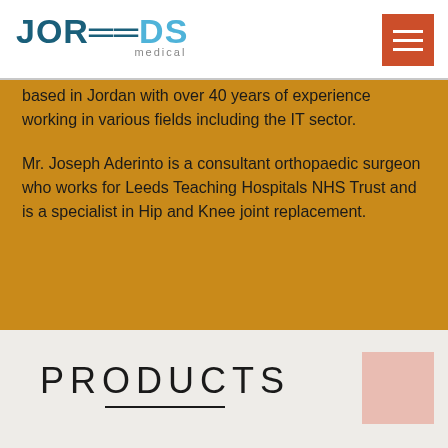JORLEEDS medical
based in Jordan with over 40 years of experience working in various fields including the IT sector.
Mr. Joseph Aderinto is a consultant orthopaedic surgeon who works for Leeds Teaching Hospitals NHS Trust and is a specialist in Hip and Knee joint replacement.
PRODUCTS